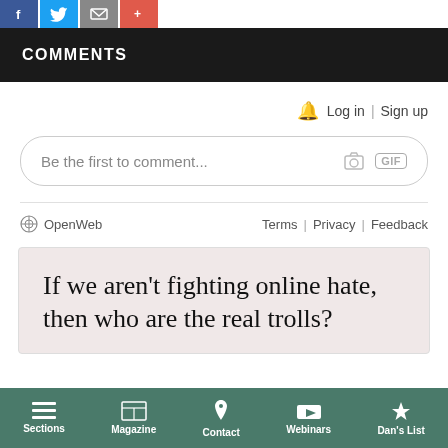[Figure (screenshot): Social share buttons: Facebook (blue), Twitter (blue), Email (gray), Pinterest/share (red-orange)]
COMMENTS
Log in | Sign up
Be the first to comment...
OpenWeb   Terms | Privacy | Feedback
[Figure (infographic): Ad/promotional box with pinkish background: 'If we aren't fighting online hate, then who are the real trolls?']
Sections   Magazine   Contact   Webinars   Dan's List